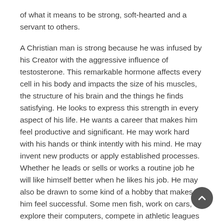of what it means to be strong, soft-hearted and a servant to others.
A Christian man is strong because he was infused by his Creator with the aggressive influence of testosterone. This remarkable hormone affects every cell in his body and impacts the size of his muscles, the structure of his brain and the things he finds satisfying. He looks to express this strength in every aspect of his life. He wants a career that makes him feel productive and significant. He may work hard with his hands or think intently with his mind. He may invent new products or apply established processes. Whether he leads or sells or works a routine job he will like himself better when he likes his job. He may also be drawn to some kind of a hobby that makes him feel successful. Some men fish, work on cars, explore their computers, compete in athletic leagues or work on projects to give